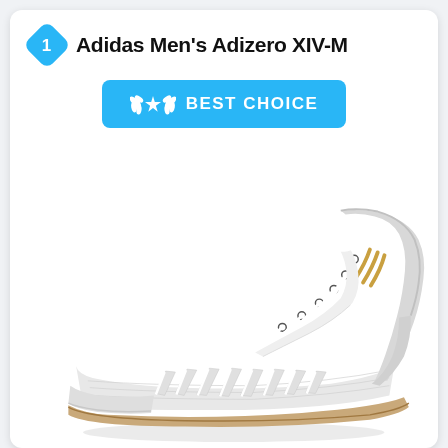Adidas Men's Adizero XIV-M
[Figure (infographic): Blue rounded diamond/square badge with number 1 in white, serving as a ranking badge]
[Figure (infographic): Blue rounded rectangle button with laurel wreath and star icon on the left, and text BEST CHOICE in white bold uppercase letters]
[Figure (photo): White and gold Adidas Men's Adizero XIV-M wrestling shoe shown in a side profile view, with white mesh upper, white laces, gold Adidas logo stripe, and a gum/tan rubber sole]